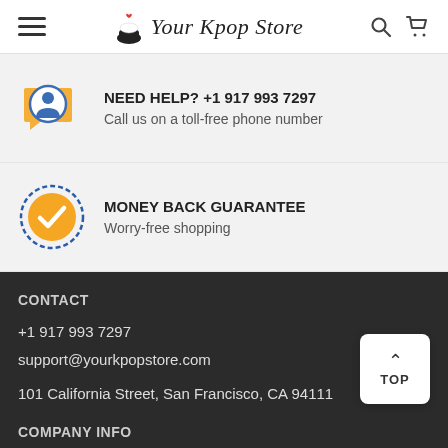Your Kpop Store
NEED HELP? +1 917 993 7297
Call us on a toll-free phone number
MONEY BACK GUARANTEE
Worry-free shopping
CONTACT
+1 917 993 7297
support@yourkpopstore.com
101 California Street, San Francisco, CA 94111
COMPANY INFO